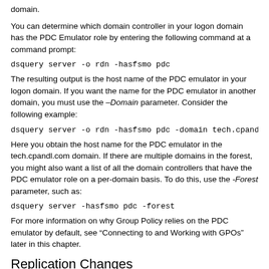domain.
You can determine which domain controller in your logon domain has the PDC Emulator role by entering the following command at a command prompt:
The resulting output is the host name of the PDC emulator in your logon domain. If you want the name for the PDC emulator in another domain, you must use the –Domain parameter. Consider the following example:
Here you obtain the host name for the PDC emulator in the tech.cpandl.com domain. If there are multiple domains in the forest, you might also want a list of all the domain controllers that have the PDC emulator role on a per-domain basis. To do this, use the -Forest parameter, such as:
For more information on why Group Policy relies on the PDC emulator by default, see “Connecting to and Working with GPOs” later in this chapter.
Replication Changes
A key change between earlier implementations of Active Directory and implementations for Windows Server 2008 and later has to do with how policies and related data are replicated. The Active Directory...